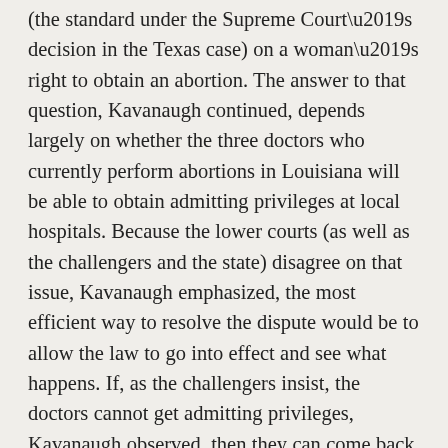(the standard under the Supreme Court's decision in the Texas case) on a woman's right to obtain an abortion. The answer to that question, Kavanaugh continued, depends largely on whether the three doctors who currently perform abortions in Louisiana will be able to obtain admitting privileges at local hospitals. Because the lower courts (as well as the challengers and the state) disagree on that issue, Kavanaugh emphasized, the most efficient way to resolve the dispute would be to allow the law to go into effect and see what happens. If, as the challengers insist, the doctors cannot get admitting privileges, Kavanaugh observed, then they can come back to court. But if they can get privileges, he contended, then the law would not impose an “undue burden” and therefore would not be unconstitutional.
The challengers are expected to file their petition for